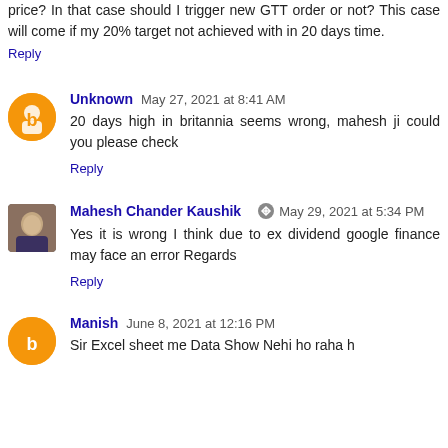price? In that case should I trigger new GTT order or not? This case will come if my 20% target not achieved with in 20 days time.
Reply
Unknown  May 27, 2021 at 8:41 AM
20 days high in britannia seems wrong, mahesh ji could you please check
Reply
Mahesh Chander Kaushik  May 29, 2021 at 5:34 PM
Yes it is wrong I think due to ex dividend google finance may face an error Regards
Reply
Manish  June 8, 2021 at 12:16 PM
Sir Excel sheet me Data Show Nehi ho raha h